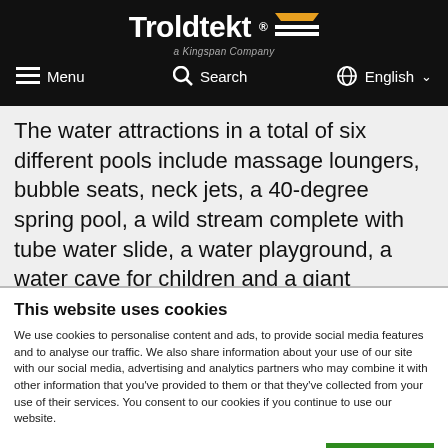Troldtekt® a Kingspan Company — Menu  Search  English
The water attractions in a total of six different pools include massage loungers, bubble seats, neck jets, a lazy river, a 40-degree spring pool, a wild stream complete with tube water slide, a water playground, a water cave for children and a giant whirlpool for up to 30
This website uses cookies
We use cookies to personalise content and ads, to provide social media features and to analyse our traffic. We also share information about your use of our site with our social media, advertising and analytics partners who may combine it with other information that you've provided to them or that they've collected from your use of their services. You consent to our cookies if you continue to use our website.
OK
Necessary  Preferences  Statistics  Marketing  Show details